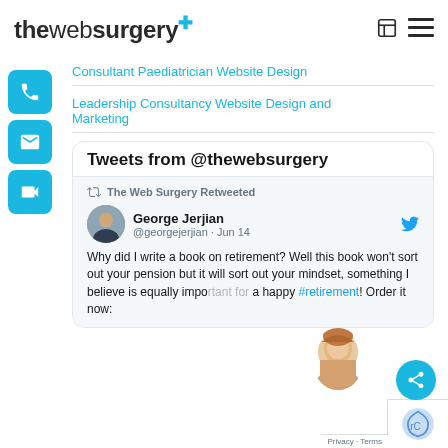thewebsurgery
Consultant Paediatrician Website Design
Leadership Consultancy Website Design and Marketing
[Figure (screenshot): Tweets from @thewebsurgery widget showing a retweet by George Jerjian about writing a book on retirement]
Tweets from @thewebsurgery
The Web Surgery Retweeted
George Jerjian @georgejerjian · Jun 14
Why did I write a book on retirement? Well this book won't sort out your pension but it will sort out your mindset, something I believe is equally important for a happy #retirement! Order it now: